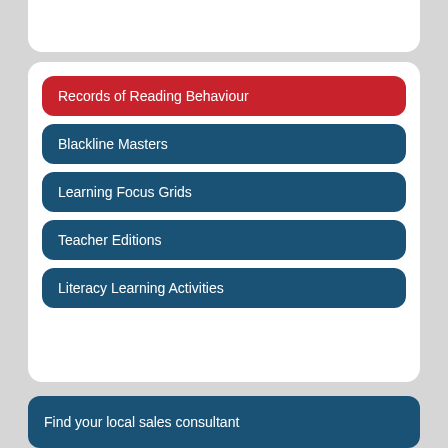Records of Reading Behaviour
Blackline Masters
Learning Focus Grids
Teacher Editions
Literacy Learning Activities
Find your local sales consultant